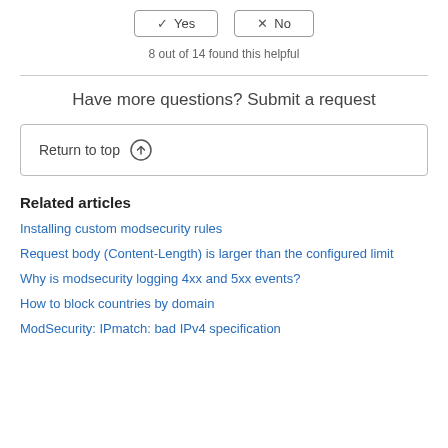8 out of 14 found this helpful
Have more questions? Submit a request
Return to top ↑
Related articles
Installing custom modsecurity rules
Request body (Content-Length) is larger than the configured limit
Why is modsecurity logging 4xx and 5xx events?
How to block countries by domain
ModSecurity: IPmatch: bad IPv4 specification